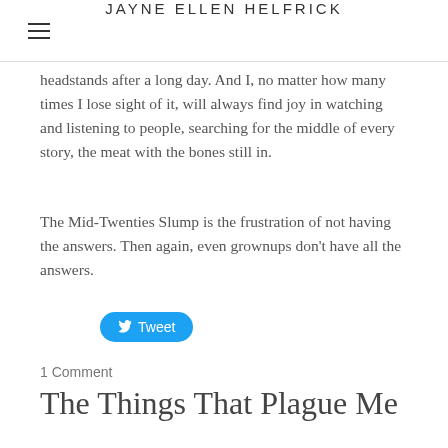JAYNE ELLEN HELFRICK
headstands after a long day. And I, no matter how many times I lose sight of it, will always find joy in watching and listening to people, searching for the middle of every story, the meat with the bones still in.
The Mid-Twenties Slump is the frustration of not having the answers. Then again, even grownups don't have all the answers.
[Figure (other): Blue Tweet button with Twitter bird icon]
1 Comment
The Things That Plague Me
3/16/2014
0 Comments
All my pillows are in a garbage bag in my attic. My